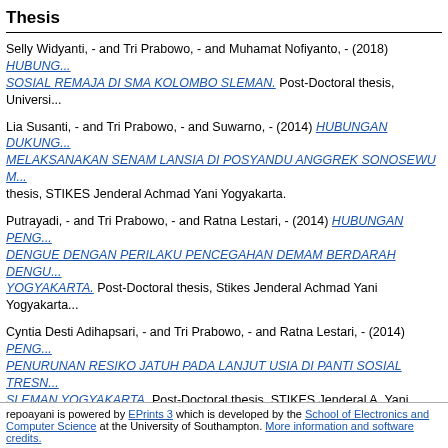Thesis
Selly Widyanti, - and Tri Prabowo, - and Muhamat Nofiyanto, - (2018) HUBUNG... SOSIAL REMAJA DI SMA KOLOMBO SLEMAN. Post-Doctoral thesis, Universi...
Lia Susanti, - and Tri Prabowo, - and Suwarno, - (2014) HUBUNGAN DUKUNG... MELAKSANAKAN SENAM LANSIA DI POSYANDU ANGGREK SONOSEWU M... thesis, STIKES Jenderal Achmad Yani Yogyakarta.
Putrayadi, - and Tri Prabowo, - and Ratna Lestari, - (2014) HUBUNGAN PENG... DENGUE DENGAN PERILAKU PENCEGAHAN DEMAM BERDARAH DENGU... YOGYAKARTA. Post-Doctoral thesis, Stikes Jenderal Achmad Yani Yogyakarta.
Cyntia Desti Adihapsari, - and Tri Prabowo, - and Ratna Lestari, - (2014) PENG... PENURUNAN RESIKO JATUH PADA LANJUT USIA DI PANTI SOSIAL TRESN... SLEMAN YOGYAKARTA. Post-Doctoral thesis, STIKES Jenderal A. Yani Yogya...
Edi Nurrohmad, - and Tri Prabowo, - and Suwarno, - (2014) PENGARUH PEND... PENINGKATAN PENGETAHUAN PADA KELUARGA DENGAN PENYAKIT DM... KELURAHAN BANYURADEN KECAMATAN GAMPANG. Post-Doctoral thesis,...
Catarina Nopiana W, - and Tri Prabowo, - and Masta Hutasoit, - (2013) HUBUN... MENARCHE DENGAN KECEMASAN MENGHADAPI MENARCHE DI SD TLO... YOGYAKARTA. Post-Doctoral thesis, STIKES Jenderal Achmad Yani Yogyakar...
Thi...
repoayani is powered by EPrints 3 which is developed by the School of Electronics and Computer Science at the University of Southampton. More information and software credits.